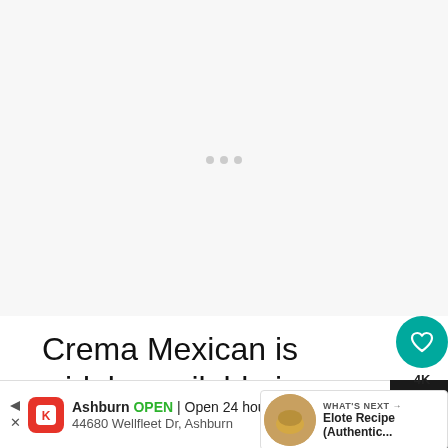[Figure (other): Large white/light grey placeholder image area at top of page]
Crema Mexican is widely available in my area; I can find it at Walmart. You m... to go to a Hispanic market to get it, or you can substitute sour cream or crème fraiche
[Figure (other): UI overlay: heart/like button (teal circle), 4K count, share button]
[Figure (other): WHAT'S NEXT card: Elote Recipe (Authentic...) with food thumbnail]
[Figure (other): Ad banner: Ashburn OPEN | Open 24 hours, 44680 Wellfleet Dr, Ashburn with navigation icon and dark bar on right]